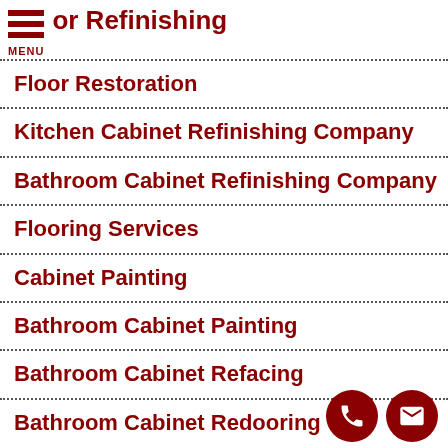Floor Refinishing
Floor Restoration
Kitchen Cabinet Refinishing Company
Bathroom Cabinet Refinishing Company
Flooring Services
Cabinet Painting
Bathroom Cabinet Painting
Bathroom Cabinet Refacing
Bathroom Cabinet Redooring